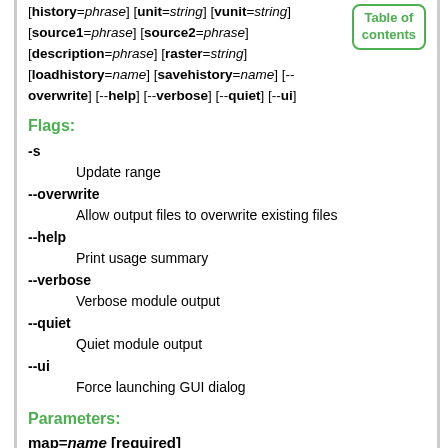[history=phrase] [unit=string] [vunit=string] [source1=phrase] [source2=phrase] [description=phrase] [raster=string] [loadhistory=name] [savehistory=name] [--overwrite] [--help] [--verbose] [--quiet] [--ui]
[Figure (other): Table of contents button/box in green border]
Flags:
-s
    Update range
--overwrite
    Allow output files to overwrite existing files
--help
    Print usage summary
--verbose
    Verbose module output
--quiet
    Quiet module output
--ui
    Force launching GUI dialog
Parameters:
map=name [required]